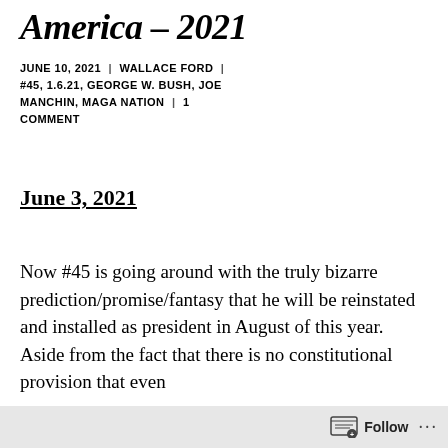America – 2021
JUNE 10, 2021 | WALLACE FORD | #45, 1.6.21, GEORGE W. BUSH, JOE MANCHIN, MAGA NATION | 1 COMMENT
June 3, 2021
Now #45 is going around with the truly bizarre prediction/promise/fantasy that he will be reinstated and installed as president in August of this year. Aside from the fact that there is no constitutional provision that even
Follow